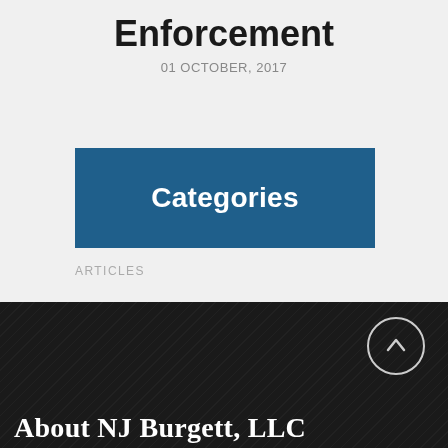Enforcement
01 OCTOBER, 2017
Categories
ARTICLES
About NJ Burgett, LLC